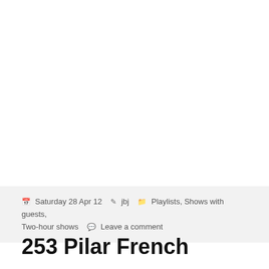📅 Saturday 28 Apr 12  👤 jbj  🗂 Playlists, Shows with guests, Two-hour shows  💬 Leave a comment
253 Pilar French